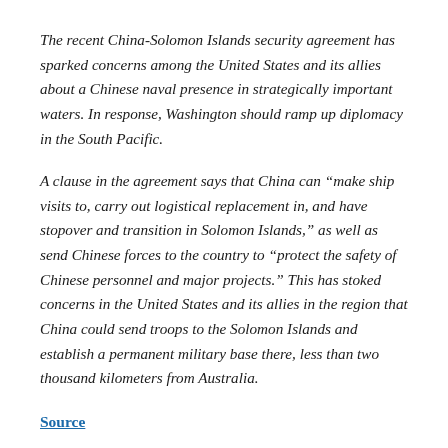The recent China-Solomon Islands security agreement has sparked concerns among the United States and its allies about a Chinese naval presence in strategically important waters. In response, Washington should ramp up diplomacy in the South Pacific.
A clause in the agreement says that China can “make ship visits to, carry out logistical replacement in, and have stopover and transition in Solomon Islands,” as well as send Chinese forces to the country to “protect the safety of Chinese personnel and major projects.” This has stoked concerns in the United States and its allies in the region that China could send troops to the Solomon Islands and establish a permanent military base there, less than two thousand kilometers from Australia.
Source